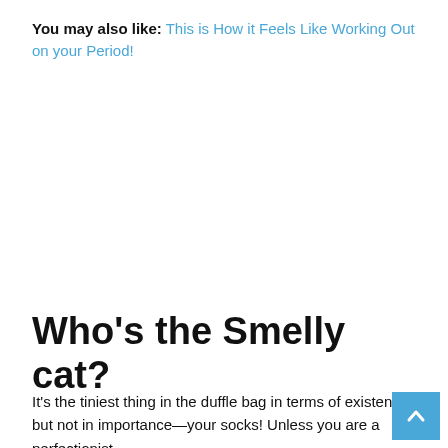You may also like: This is How it Feels Like Working Out on your Period!
Who's the Smelly cat?
It's the tiniest thing in the duffle bag in terms of existence, but not in importance—your socks! Unless you are a perfectionist